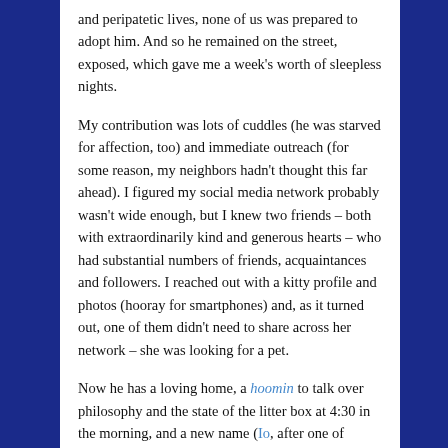and peripatetic lives, none of us was prepared to adopt him. And so he remained on the street, exposed, which gave me a week's worth of sleepless nights.
My contribution was lots of cuddles (he was starved for affection, too) and immediate outreach (for some reason, my neighbors hadn't thought this far ahead). I figured my social media network probably wasn't wide enough, but I knew two friends – both with extraordinarily kind and generous hearts – who had substantial numbers of friends, acquaintances and followers. I reached out with a kitty profile and photos (hooray for smartphones) and, as it turned out, one of them didn't need to share across her network – she was looking for a pet.
Now he has a loving home, a hoomin to talk over philosophy and the state of the litter box at 4:30 in the morning, and a new name (Io, after one of Jupiter's moons).
And I went back to losing sleep over who my new